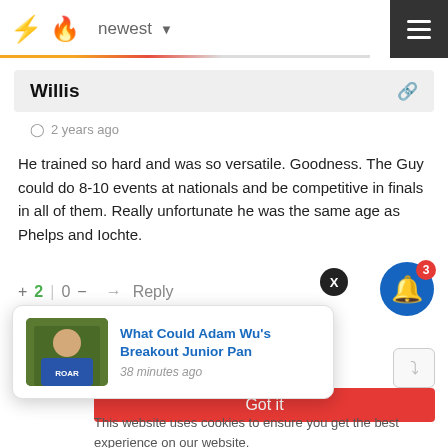newest (dropdown) — navigation bar with bolt and flame icons
Willis
2 years ago
He trained so hard and was so versatile. Goodness. The Guy could do 8-10 events at nationals and be competitive in finals in all of them. Really unfortunate he was the same age as Phelps and Iochte.
+ 2 | 0 — Reply
[Figure (screenshot): Notification popup with image of person in blue shirt, title 'What Could Adam Wu's Breakout Junior Pan', timestamp '38 minutes ago']
Got it
This website uses cookies to ensure you get the best experience on our website.